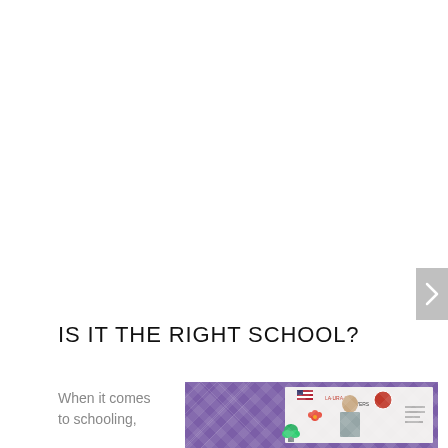IS IT THE RIGHT SCHOOL?
When it comes to schooling,
[Figure (photo): A man standing in a classroom in front of a whiteboard with flags and decorations; purple diamond-pattern background visible on left side]